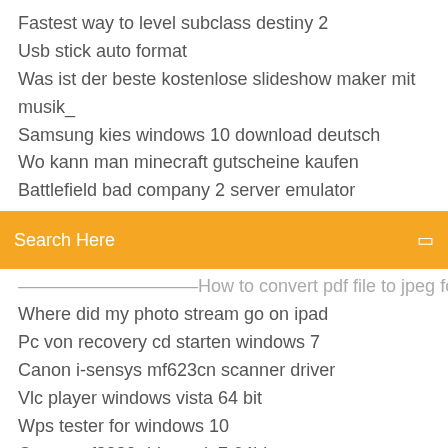Fastest way to level subclass destiny 2
Usb stick auto format
Was ist der beste kostenlose slideshow maker mit musik_
Samsung kies windows 10 download deutsch
Wo kann man minecraft gutscheine kaufen
Battlefield bad company 2 server emulator
[Figure (screenshot): Orange search bar with text 'Search Here' and a small icon on the right]
How to convert pdf file to jpeg for free
Where did my photo stream go on ipad
Pc von recovery cd starten windows 7
Canon i-sensys mf623cn scanner driver
Vlc player windows vista 64 bit
Wps tester for windows 10
Canon mf3220 driver win7 64bit
How to burn music cd for car
Call of duty 2 pc download free full version
Windows 7 start windows update service
Conversion gratuite youtube mp3